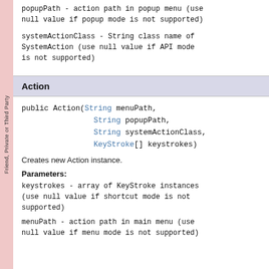popupPath - action path in popup menu (use null value if popup mode is not supported)
systemActionClass - String class name of SystemAction (use null value if API mode is not supported)
Action
public Action(String menuPath,
                String popupPath,
                String systemActionClass,
                KeyStroke[] keystrokes)
Creates new Action instance.
Parameters:
keystrokes - array of KeyStroke instances (use null value if shortcut mode is not supported)
menuPath - action path in main menu (use null value if menu mode is not supported)